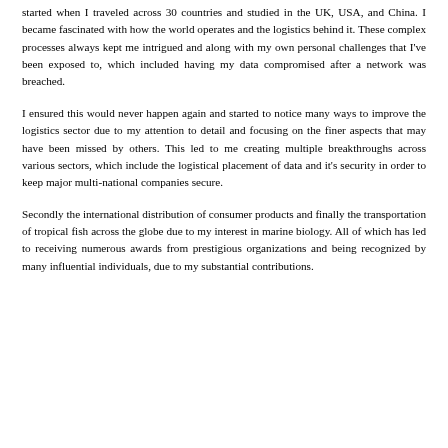started when I traveled across 30 countries and studied in the UK, USA, and China. I became fascinated with how the world operates and the logistics behind it. These complex processes always kept me intrigued and along with my own personal challenges that I've been exposed to, which included having my data compromised after a network was breached.
I ensured this would never happen again and started to notice many ways to improve the logistics sector due to my attention to detail and focusing on the finer aspects that may have been missed by others. This led to me creating multiple breakthroughs across various sectors, which include the logistical placement of data and it's security in order to keep major multi-national companies secure.
Secondly the international distribution of consumer products and finally the transportation of tropical fish across the globe due to my interest in marine biology. All of which has led to receiving numerous awards from prestigious organizations and being recognized by many influential individuals, due to my substantial contributions.